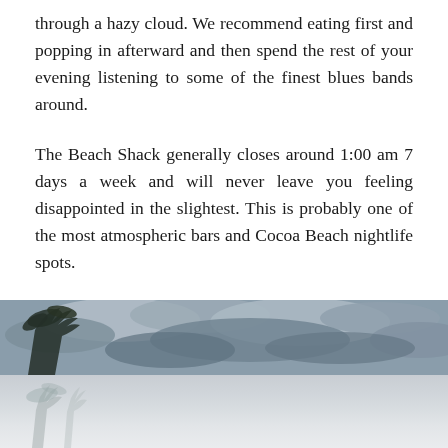through a hazy cloud. We recommend eating first and popping in afterward and then spend the rest of your evening listening to some of the finest blues bands around.
The Beach Shack generally closes around 1:00 am 7 days a week and will never leave you feeling disappointed in the slightest. This is probably one of the most atmospheric bars and Cocoa Beach nightlife spots.
Address: 1 Minutemen Causeway #2906, Cocoa Beach, FL 32931
[Figure (photo): Outdoor photo split into two sections: top half shows a cloudy grey sky with palm tree silhouette on the left; bottom half shows a lighter sky with faint palm trees, appearing hazy and washed out.]